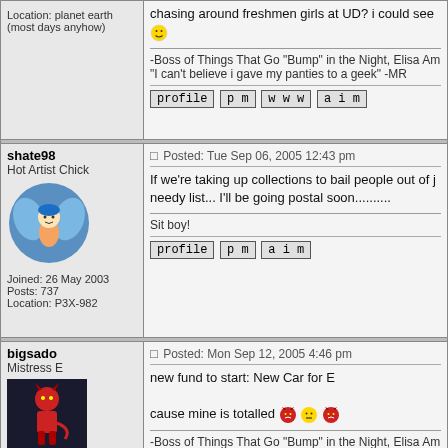| User | Post |
| --- | --- |
| Location: planet earth (most days anyhow) | chasing around freshmen girls at UD? i could see 😊

-Boss of Things That Go "Bump" in the Night, Elisa Am
"I can't believe i gave my panties to a geek" -MR
[profile][pm][www][aim] |
| shate98
Hot Artist Chick
[avatar]
Joined: 26 May 2003
Posts: 737
Location: P3X-982 | Posted: Tue Sep 06, 2005 12:43 pm
If we're taking up collections to bail people out of j needy list... I'll be going postal soon..........

Sit boy!
[profile][pm][aim] |
| bigsado
Mistress E
[avatar]
Joined: 02 May 2003
Posts: 3353
Location: planet earth (most days anyhow) | Posted: Mon Sep 12, 2005 4:46 pm
new fund to start: New Car for E
cause mine is totalled 😈😕😈
-Boss of Things That Go "Bump" in the Night, Elisa Am
"I can't believe i gave my panties to a geek" -MR |